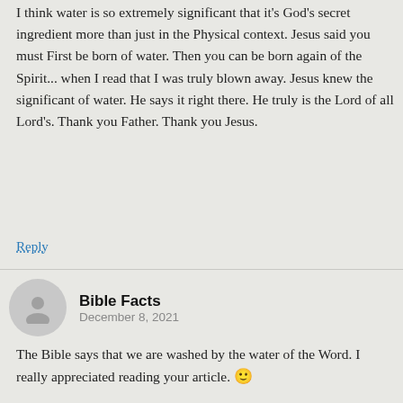I think water is so extremely significant that it's God's secret ingredient more than just in the Physical context. Jesus said you must First be born of water. Then you can be born again of the Spirit... when I read that I was truly blown away. Jesus knew the significant of water. He says it right there. He truly is the Lord of all Lord's. Thank you Father. Thank you Jesus.
Reply
Bible Facts
December 8, 2021
The Bible says that we are washed by the water of the Word. I really appreciated reading your article. 🙂
Reply
Shelmith
December 21, 2021
I don't know what reasons they had to say that water is life, but I can definitely agree with that.